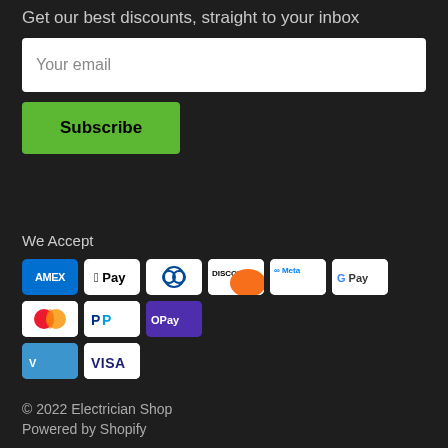Get our best discounts, straight to your inbox
Your email
Subscribe
We Accept
[Figure (other): Payment method icons: AMEX, Apple Pay, Diners Club, Discover, Meta Pay, Google Pay, Mastercard, PayPal, OPay, Venmo, Visa]
© 2022 Electrician Shop
Powered by Shopify